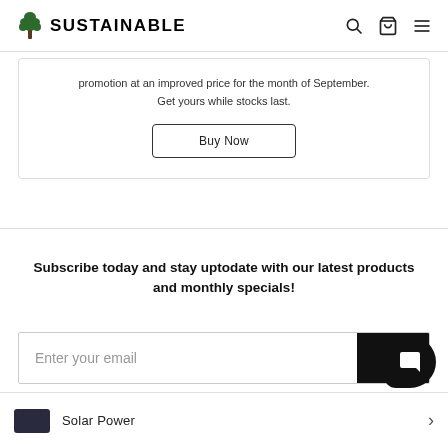SUSTAINABLE
promotion at an improved price for the month of September. Get yours while stocks last.
Buy Now
Subscribe today and stay uptodate with our latest products and monthly specials!
Enter your email
Solar Power